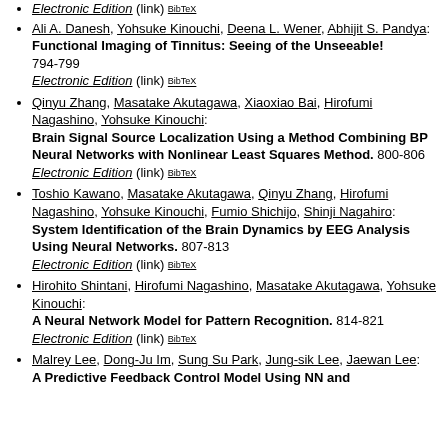Ali A. Danesh, Yohsuke Kinouchi, Deena L. Wener, Abhijit S. Pandya: Functional Imaging of Tinnitus: Seeing of the Unseeable! 794-799 Electronic Edition (link) BibTeX
Qinyu Zhang, Masatake Akutagawa, Xiaoxiao Bai, Hirofumi Nagashino, Yohsuke Kinouchi: Brain Signal Source Localization Using a Method Combining BP Neural Networks with Nonlinear Least Squares Method. 800-806 Electronic Edition (link) BibTeX
Toshio Kawano, Masatake Akutagawa, Qinyu Zhang, Hirofumi Nagashino, Yohsuke Kinouchi, Fumio Shichijo, Shinji Nagahiro: System Identification of the Brain Dynamics by EEG Analysis Using Neural Networks. 807-813 Electronic Edition (link) BibTeX
Hirohito Shintani, Hirofumi Nagashino, Masatake Akutagawa, Yohsuke Kinouchi: A Neural Network Model for Pattern Recognition. 814-821 Electronic Edition (link) BibTeX
Malrey Lee, Dong-Ju Im, Sung Su Park, Jung-sik Lee, Jaewan Lee: A Predictive Feedback Control Model Using NN and